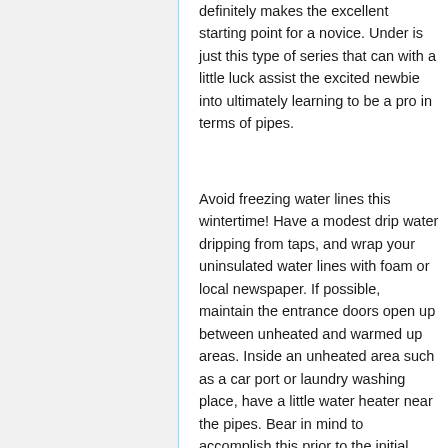definitely makes the excellent starting point for a novice. Under is just this type of series that can with a little luck assist the excited newbie into ultimately learning to be a pro in terms of pipes.
Avoid freezing water lines this wintertime! Have a modest drip water dripping from taps, and wrap your uninsulated water lines with foam or local newspaper. If possible, maintain the entrance doors open up between unheated and warmed up areas. Inside an unheated area such as a car port or laundry washing place, have a little water heater near the pipes. Bear in mind to accomplish this prior to the initial cool snap strikes.